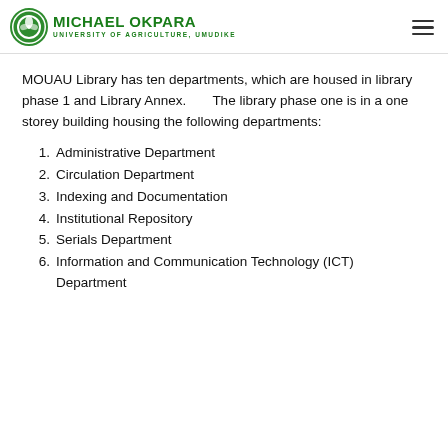MICHAEL OKPARA UNIVERSITY OF AGRICULTURE, UMUDIKE
MOUAU Library has ten departments, which are housed in library phase 1 and Library Annex.      The library phase one is in a one storey building housing the following departments:
1. Administrative Department
2. Circulation Department
3. Indexing and Documentation
4. Institutional Repository
5. Serials Department
6. Information and Communication Technology (ICT) Department